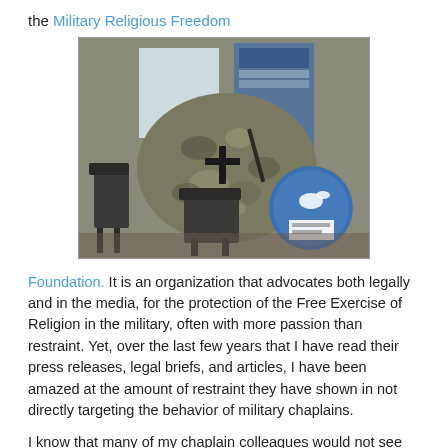the Military Religious Freedom
[Figure (photo): Indoor photo showing military camouflage garment with a cross symbol displayed prominently, along with a blue circular emblem and a chair in the background, appearing to be inside a room or office.]
Foundation.  It is an organization that advocates both legally and in the media, for the protection of the Free Exercise of Religion in the military, often with more passion than restraint. Yet, over the last few years that I have read their press releases, legal briefs, and articles, I have been amazed at the amount of restraint they have shown in not directly targeting the behavior of military chaplains.
I know that many of my chaplain colleagues would not see MRFF as operating with restraint, but I could see it.  With the closeness with which they have tracked and spoken out about military commanders using their authority to promote particular religions, and with the way the...